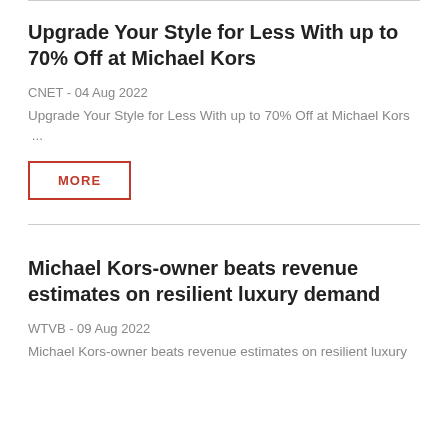Upgrade Your Style for Less With up to 70% Off at Michael Kors
CNET - 04 Aug 2022
Upgrade Your Style for Less With up to 70% Off at Michael Kors  ...
Michael Kors-owner beats revenue estimates on resilient luxury demand
WTVB - 09 Aug 2022
Michael Kors-owner beats revenue estimates on resilient luxury